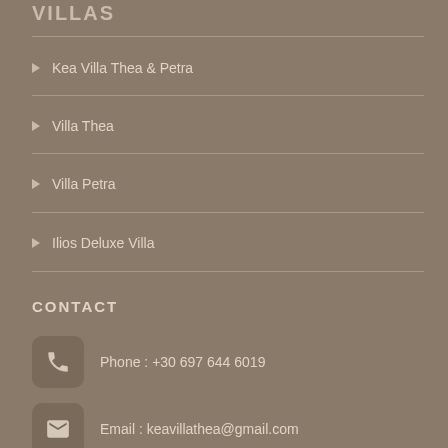VILLAS
Kea Villa Thea & Petra
Villa Thea
Villa Petra
Ilios Deluxe Villa
CONTACT
Phone : +30 697 644 6019
Email : keavillathea@gmail.com